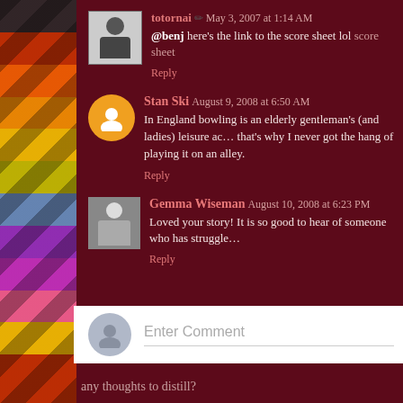totornai ✏ May 3, 2007 at 1:14 AM
@benj here's the link to the score sheet lol score sheet
Reply
Stan Ski August 9, 2008 at 6:50 AM
In England bowling is an elderly gentleman's (and ladies) leisure ac... that's why I never got the hang of playing it on an alley.
Reply
Gemma Wiseman August 10, 2008 at 6:23 PM
Loved your story! It is so good to hear of someone who has struggle...
Reply
Enter Comment
any thoughts to distill?